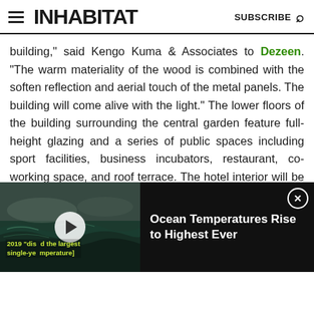INHABITAT | SUBSCRIBE
building," said Kengo Kuma & Associates to Dezeen. "The warm materiality of the wood is combined with the soften reflection and aerial touch of the metal panels. The building will come alive with the light." The lower floors of the building surrounding the central garden feature full-height glazing and a series of public spaces including sport facilities, business incubators, restaurant, co-working space, and roof terrace. The hotel interior will be filled with natural light and also feature a predominately timber materials palette.
[Figure (screenshot): Embedded video player showing ocean waves with text '2019 displayed the largest single-year temperature' overlaid. Title reads: Ocean Temperatures Rise to Highest Ever]